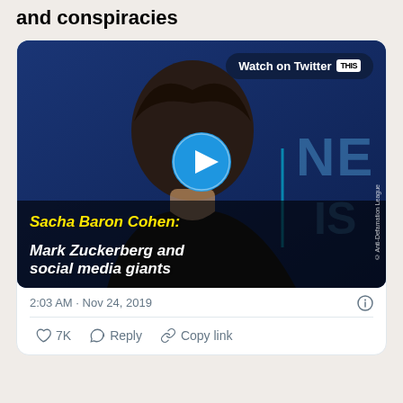and conspiracies
[Figure (screenshot): Twitter/X embedded video card showing Sacha Baron Cohen at Anti-Defamation League event. Blue background with play button overlay. Yellow italic text reads 'Sacha Baron Cohen:' and white italic text reads 'Mark Zuckerberg and social media giants'. 'Watch on Twitter' button in top right corner.]
2:03 AM · Nov 24, 2019
7K   Reply   Copy link